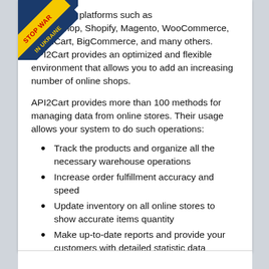...o shopping platforms such as PrestaShop, Shopify, Magento, WooCommerce, OpenCart, BigCommerce, and many others. API2Cart provides an optimized and flexible environment that allows you to add an increasing number of online shops.
API2Cart provides more than 100 methods for managing data from online stores. Their usage allows your system to do such operations:
Track the products and organize all the necessary warehouse operations
Increase order fulfillment accuracy and speed
Update inventory on all online stores to show accurate items quantity
Make up-to-date reports and provide your customers with detailed statistic data